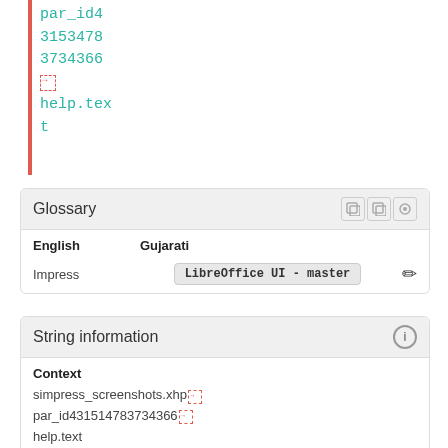par_id4
3153478
3734366
[icon]
help.text
Glossary
| English | Gujarati |
| --- | --- |
| Impress | LibreOffice UI - master |
String information
Context
simpress_screenshots.xhp [icon]
par_id431514783734366 [icon]
help.text